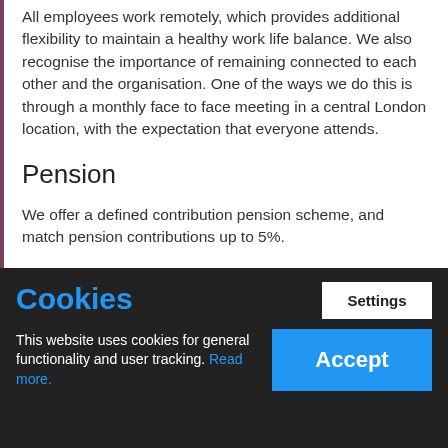All employees work remotely, which provides additional flexibility to maintain a healthy work life balance. We also recognise the importance of remaining connected to each other and the organisation. One of the ways we do this is through a monthly face to face meeting in a central London location, with the expectation that everyone attends.
Pension
We offer a defined contribution pension scheme, and match pension contributions up to 5%.
Additional benefits
We also:
Cookies
Settings
This website uses cookies for general functionality and user tracking. Read more.
Accept